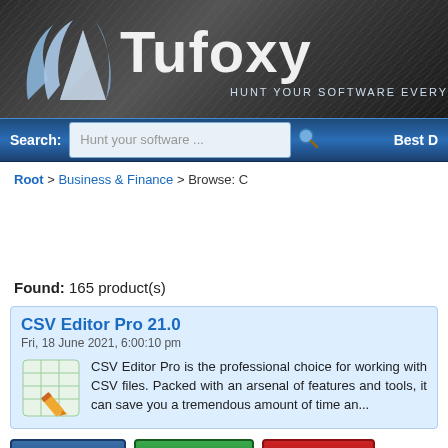[Figure (logo): Tufoxy logo with tagline HUNT YOUR SOFTWARE EVERYWHERE on dark diagonal-striped banner]
Search: Hunt your software ...  Best D
Root > Business & Finance > Browse: C
Found: 165 product(s)
CSV Editor Pro 21.0
Fri, 18 June 2021, 6:00:10 pm
CSV Editor Pro is the professional choice for working with CSV files. Packed with an arsenal of features and tools, it can save you a tremendous amount of time an...
More info   Download   Buy Now